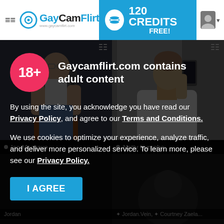GayCamFlirt — 120 CREDITS FREE!
[Figure (screenshot): Two profile photos: left shows a muscular man sitting on a chair in a dark studio; right shows a young man taking a mirror selfie in a white hoodie.]
Ian Mackaye
Natty Nympho
Gaycamflirt.com contains adult content
By using the site, you acknowledge you have read our Privacy Policy, and agree to our Terms and Conditions.
We use cookies to optimize your experience, analyze traffic, and deliver more personalized service. To learn more, please see our Privacy Policy.
I AGREE